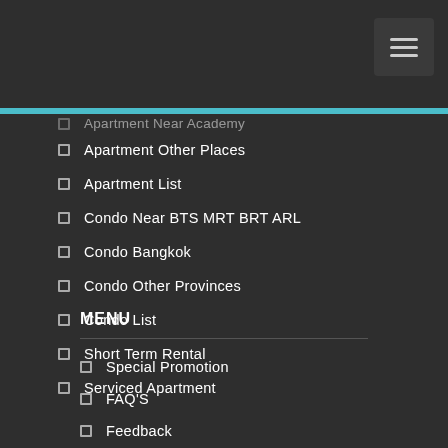Apartment Near Academy
Apartment Other Places
Apartment List
Condo Near BTS MRT BRT ARL
Condo Bangkok
Condo Other Provinces
Condo List
Short Term Rental
Serviced Apartment
MENU
Special Promotion
FAQ'S
Feedback